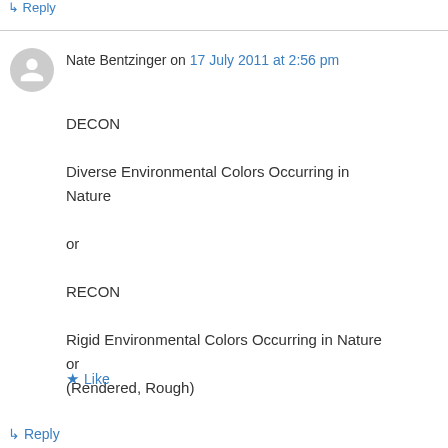↳ Reply
Nate Bentzinger on 17 July 2011 at 2:56 pm
DECON

Diverse Environmental Colors Occurring in Nature

or

RECON

Rigid Environmental Colors Occurring in Nature
or
(Rendered, Rough)
★ Like
↳ Reply